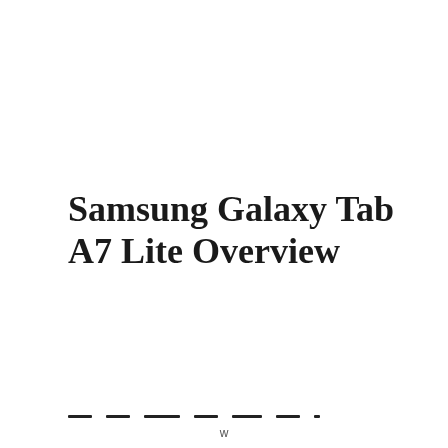Samsung Galaxy Tab A7 Lite Overview
[Figure (other): Ncell advertisement banner for Double Majja Pack showing orange background with Ncell logo, promotion text in Nepali and English '5GB + 5GB', phone number *17123*22# and Buy button on purple background]
—